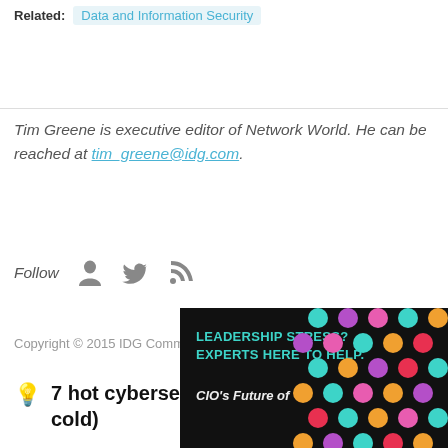Related: Data and Information Security
Tim Greene is executive editor of Network World. He can be reached at tim_greene@idg.com.
Follow
Copyright © 2015 IDG Communications, Inc.
7 hot cybersecurity trends (and 2 going cold)
[Figure (photo): Advertisement banner for CIO's Future of Leadership with colorful dots pattern and text: LEADERSHIP STRESS? EXPERTS HERE TO HELP. CIO's Future of...]